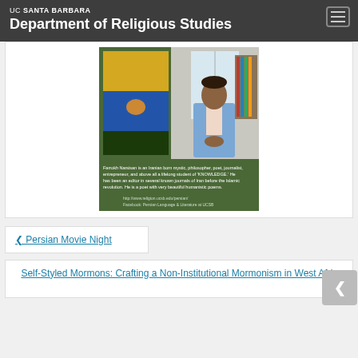UC SANTA BARBARA Department of Religious Studies
[Figure (photo): Event flyer with photo of a man in a blue jacket standing in front of artwork. Green background with text about Farrokh Narsisan, an Iranian-born mystic, philosopher, poet, journalist, entrepreneur. Links to religion.ucsb.edu/persian and Facebook: Persian Language & Literature at UCSB.]
‹ Persian Movie Night
Self-Styled Mormons: Crafting a Non-Institutional Mormonism in West Africa ›